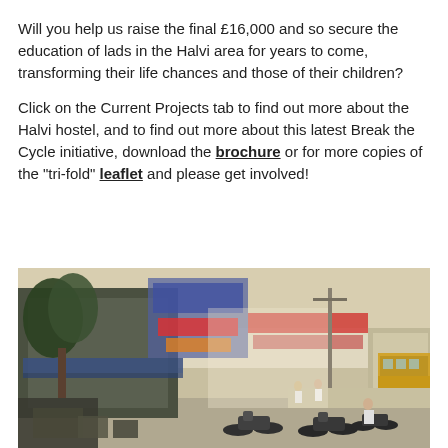Will you help us raise the final £16,000 and so secure the education of lads in the Halvi area for years to come, transforming their life chances and those of their children?
Click on the Current Projects tab to find out more about the Halvi hostel, and to find out more about this latest Break the Cycle initiative, download the brochure or for more copies of the "tri-fold" leaflet and please get involved!
[Figure (photo): Street scene in what appears to be an Indian town, showing shops with colorful signage in local script and English, trees, motorcycles parked along the road, pedestrians, a utility pole, and a yellow bus on the right side.]